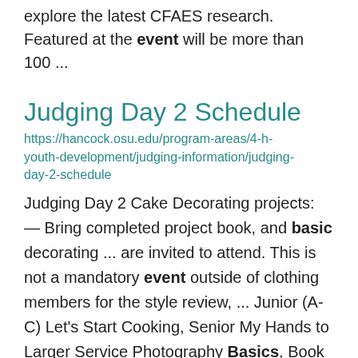explore the latest CFAES research. Featured at the event will be more than 100 ...
Judging Day 2 Schedule
https://hancock.osu.edu/program-areas/4-h-youth-development/judging-information/judging-day-2-schedule
Judging Day 2 Cake Decorating projects: — Bring completed project book, and basic decorating ... are invited to attend. This is not a mandatory event outside of clothing members for the style review, ... Junior (A-C) Let's Start Cooking, Senior My Hands to Larger Service Photography Basics, Book ...